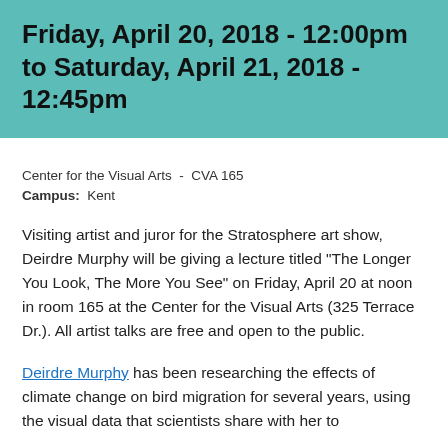Friday, April 20, 2018 - 12:00pm to Saturday, April 21, 2018 - 12:45pm
Center for the Visual Arts - CVA 165
Campus: Kent
Visiting artist and juror for the Stratosphere art show, Deirdre Murphy will be giving a lecture titled "The Longer You Look, The More You See" on Friday, April 20 at noon in room 165 at the Center for the Visual Arts (325 Terrace Dr.). All artist talks are free and open to the public.
Deirdre Murphy has been researching the effects of climate change on bird migration for several years, using the visual data that scientists share with her to